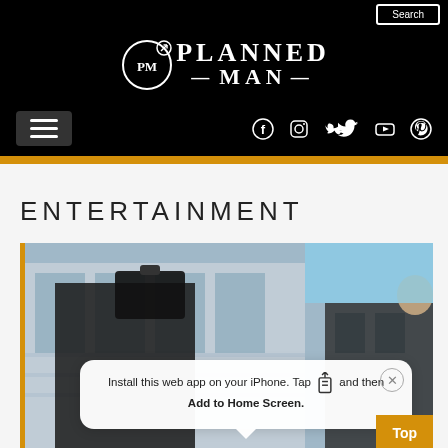[Figure (logo): Planned Man logo: circle with PM letters and arrow, next to PLANNED MAN text in white on black background]
[Figure (screenshot): Navigation bar with hamburger menu on left and social media icons (Facebook, Instagram, Twitter, YouTube, Pinterest) on right, on black background]
ENTERTAINMENT
[Figure (photo): Photo of businessmen celebrating outdoors with briefcase raised, with iOS 'Install this web app on your iPhone. Tap and then Add to Home Screen.' popup overlay and 'Top' button]
Install this web app on your iPhone. Tap and then Add to Home Screen.